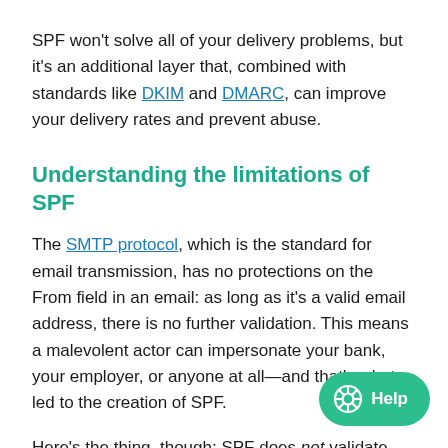SPF won't solve all of your delivery problems, but it's an additional layer that, combined with standards like DKIM and DMARC, can improve your delivery rates and prevent abuse.
Understanding the limitations of SPF
The SMTP protocol, which is the standard for email transmission, has no protections on the From field in an email: as long as it's a valid email address, there is no further validation. This means a malevolent actor can impersonate your bank, your employer, or anyone at all—and that's what led to the creation of SPF.
Here's the thing, though: SPF does not validate the From domain. Instead, it looks at the Return-Path (aka: the email address used by receiving servers to notify